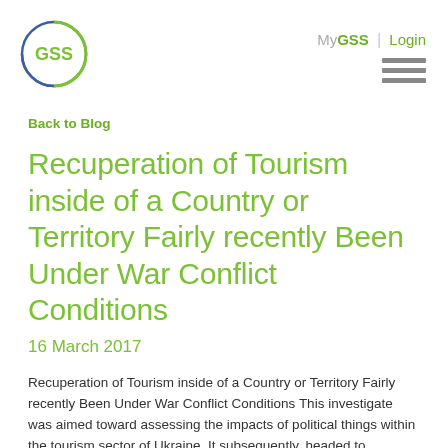[Figure (logo): GSS circular logo with green and blue ring and green GSS text in center]
My GSS | Login
Back to Blog
Recuperation of Tourism inside of a Country or Territory Fairly recently Been Under War Conflict Conditions
16 March 2017
Recuperation of Tourism inside of a Country or Territory Fairly recently Been Under War Conflict Conditions This investigate was aimed toward assessing the impacts of political things within the tourism sector of Ukraine. It subsequently, headed to identifying beneficial methods to